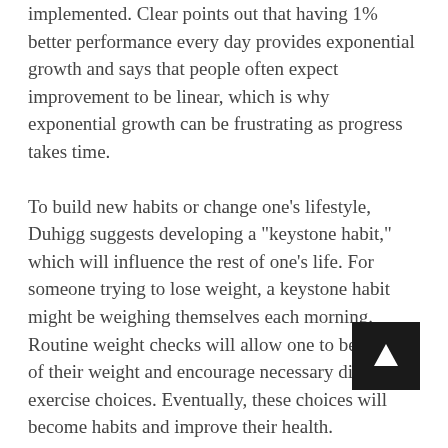implemented. Clear points out that having 1% better performance every day provides exponential growth and says that people often expect improvement to be linear, which is why exponential growth can be frustrating as progress takes time.
To build new habits or change one's lifestyle, Duhigg suggests developing a "keystone habit," which will influence the rest of one's life. For someone trying to lose weight, a keystone habit might be weighing themselves each morning. Routine weight checks will allow one to be aware of their weight and encourage necessary diet and exercise choices. Eventually, these choices will become habits and improve their health.
Clear suggests making small changes instead of large ones to ensure that people build habits that will last. For example, if a person's goal is to read for thirty minutes every night, they could start by opening a book every day but not